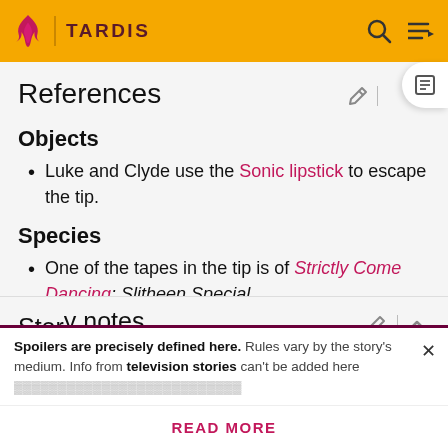TARDIS
References
Objects
Luke and Clyde use the Sonic lipstick to escape the tip.
Species
One of the tapes in the tip is of Strictly Come Dancing: Slitheen Special.
Story notes
Spoilers are precisely defined here. Rules vary by the story's medium. Info from television stories can't be added here
READ MORE